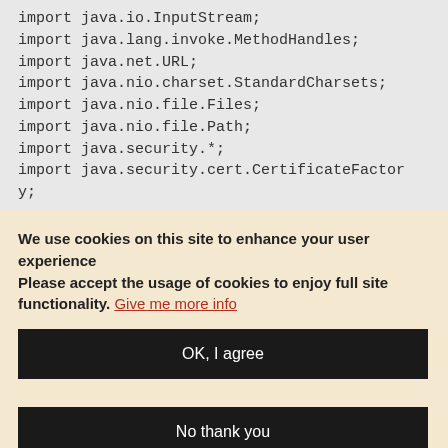import java.io.InputStream;
import java.lang.invoke.MethodHandles;
import java.net.URL;
import java.nio.charset.StandardCharsets;
import java.nio.file.Files;
import java.nio.file.Path;
import java.security.*;
import java.security.cert.CertificateFactory;
We use cookies on this site to enhance your user experience
Please accept the usage of cookies to enjoy full site functionality. Give me more info
OK, I agree
No thank you